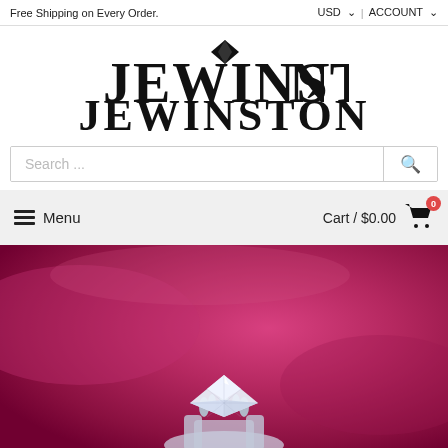Free Shipping on Every Order.
[Figure (logo): JEWINSTON jewelry brand logo with diamond icon above the letter O]
Search ...
≡ Menu   Cart / $0.00 🛒 0
[Figure (photo): Close-up photo of a diamond ring with heart-shaped diamond on a pink/magenta fabric background]